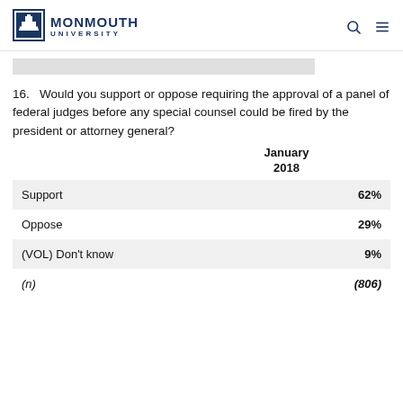MONMOUTH UNIVERSITY
16.   Would you support or oppose requiring the approval of a panel of federal judges before any special counsel could be fired by the president or attorney general?
|  | January 2018 |
| --- | --- |
| Support | 62% |
| Oppose | 29% |
| (VOL) Don't know | 9% |
| (n) | (806) |